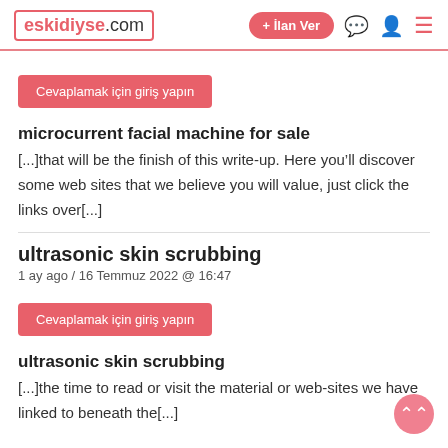eskidiyse.com | + İlan Ver
Cevaplamak için giriş yapın
microcurrent facial machine for sale
[...]that will be the finish of this write-up. Here you'll discover some web sites that we believe you will value, just click the links over[...]
ultrasonic skin scrubbing
1 ay ago / 16 Temmuz 2022 @ 16:47
Cevaplamak için giriş yapın
ultrasonic skin scrubbing
[...]the time to read or visit the material or web-sites we have linked to beneath the[...]